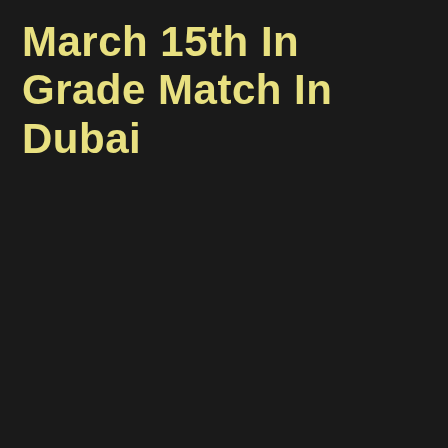March 15th In Grade Match In Dubai